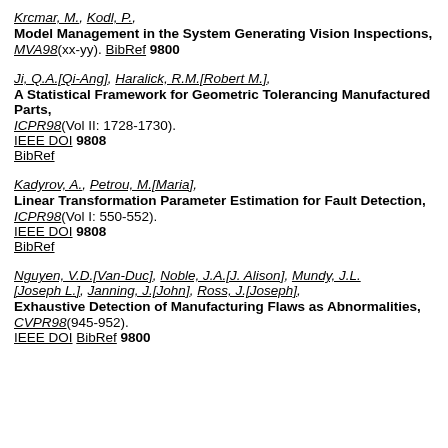Krcmar, M., Kodl, P., Model Management in the System Generating Vision Inspections, MVA98(xx-yy). BibRef 9800
Ji, Q.A.[Qi-Ang], Haralick, R.M.[Robert M.], A Statistical Framework for Geometric Tolerancing Manufactured Parts, ICPR98(Vol II: 1728-1730). IEEE DOI 9808 BibRef
Kadyrov, A., Petrou, M.[Maria], Linear Transformation Parameter Estimation for Fault Detection, ICPR98(Vol I: 550-552). IEEE DOI 9808 BibRef
Nguyen, V.D.[Van-Duc], Noble, J.A.[J. Alison], Mundy, J.L.[Joseph L.], Janning, J.[John], Ross, J.[Joseph], Exhaustive Detection of Manufacturing Flaws as Abnormalities, CVPR98(945-952). IEEE DOI BibRef 9800